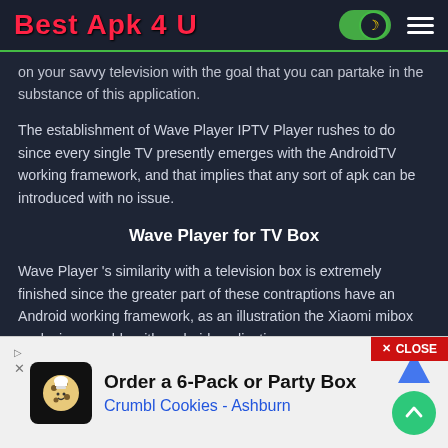Best Apk 4 U
on your savvy television with the goal that you can partake in the substance of this application.
The establishment of Wave Player IPTV Player rushes to do since every single TV presently emerges with the AndroidTV working framework, and that implies that any sort of apk can be introduced with no issue.
Wave Player for TV Box
Wave Player 's similarity with a television box is extremely finished since the greater part of these contraptions have an Android working framework, as an illustration the Xiaomi mibox works impeccably with android applications.
[Figure (screenshot): Advertisement banner: Order a 6-Pack or Party Box, Crumbl Cookies - Ashburn]